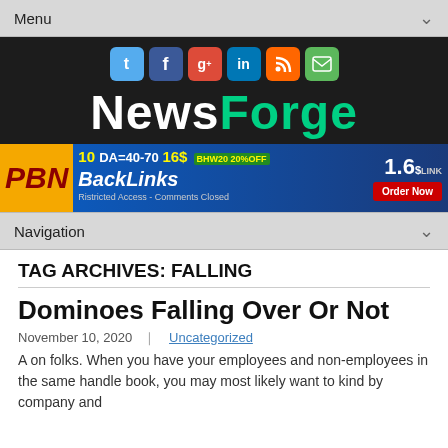Menu
[Figure (logo): NewsForge logo with social media icons (Twitter, Facebook, Google+, LinkedIn, RSS, Email) above the text 'NewsForge' in white and teal on dark background]
[Figure (infographic): PBN BackLinks advertisement banner: 10 DA=40-70 16$ BHW20 20%OFF 1.6$ LINK, Order Now button, Restricted Access - Comments Closed]
Navigation
TAG ARCHIVES: FALLING
Dominoes Falling Over Or Not
November 10, 2020   Uncategorized
A on folks. When you have your employees and non-employees in the same handle book, you may most likely want to kind by company and